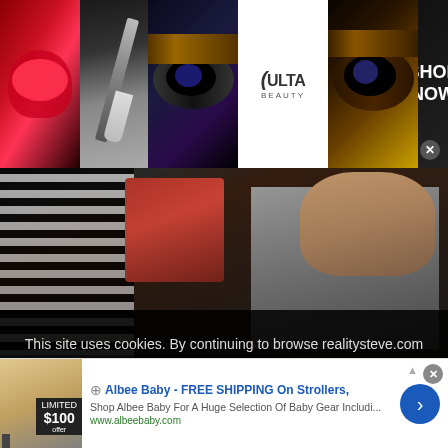[Figure (photo): ULTA Beauty advertisement banner with makeup images (lips, eye shadow, brush) and 'SHOP NOW' call to action]
[Figure (photo): Main content photo showing people posing (woman in striped shirt, woman in red jacket, man in grey shirt with arms crossed)]
Some... On Then & Now
This site uses cookies. By continuing to browse realitysteve.com you are agreeing to our use of cookies.
Do Not Sell My Personal Information
Privacy Preferences
[Figure (photo): Albee Baby advertisement - FREE SHIPPING On Strollers. Shop Albee Baby For A Huge Selection Of Baby Gear Includi... www.albeebaby.com. Shows $100 price tag and baby product image.]